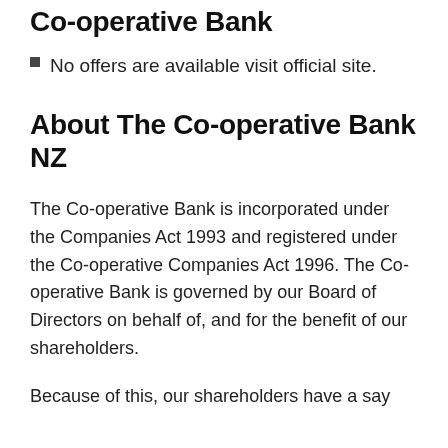Co-operative Bank
No offers are available visit official site.
About The Co-operative Bank NZ
The Co-operative Bank is incorporated under the Companies Act 1993 and registered under the Co-operative Companies Act 1996. The Co-operative Bank is governed by our Board of Directors on behalf of, and for the benefit of our shareholders.
Because of this, our shareholders have a say